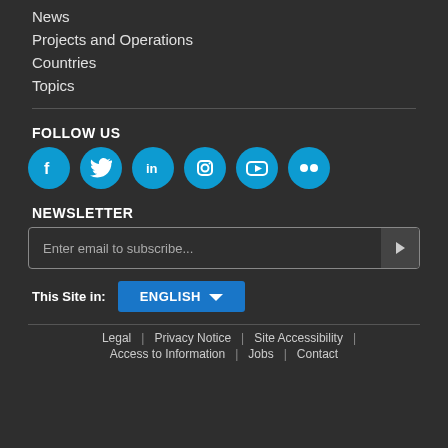News
Projects and Operations
Countries
Topics
FOLLOW US
[Figure (infographic): Six social media icon circles: Facebook, Twitter, LinkedIn, Instagram, YouTube, Flickr]
NEWSLETTER
Enter email to subscribe...
This Site in: ENGLISH
Legal | Privacy Notice | Site Accessibility | Access to Information | Jobs | Contact